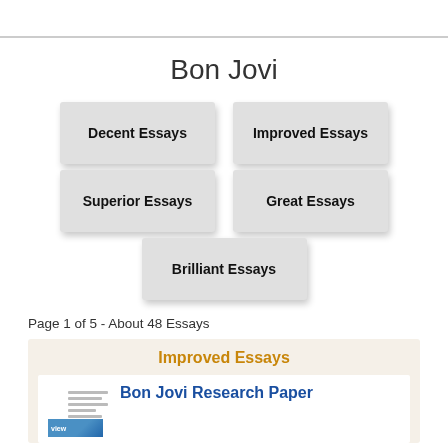Bon Jovi
Decent Essays
Improved Essays
Superior Essays
Great Essays
Brilliant Essays
Page 1 of 5 - About 48 Essays
Improved Essays
Bon Jovi Research Paper